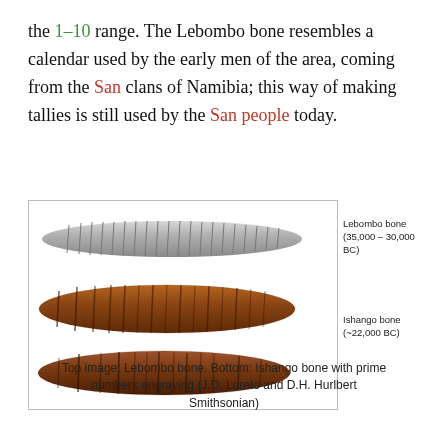the 1–10 range. The Lebombo bone resembles a calendar used by the early men of the area, coming from the San clans of Namibia; this way of making tallies is still used by the San people today.
[Figure (photo): Two ancient tally bones: top is the Lebombo bone (35,000–30,000 BC), a grey/white elongated bone with notches; bottom two views show the Ishango bone (~22,000 BC), a brown elongated bone with carved notches.]
Top image: Lebombo bone. Bottom: Ishango bone with prime numbers engraving (J.D. Loreto and D.H. Hurlbert Smithsonian)